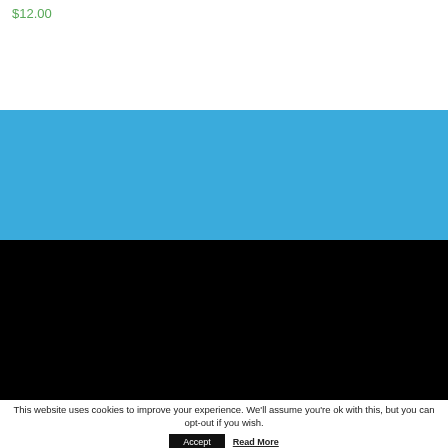$12.00
[Figure (other): Blue banner/header band]
ABOUT US
TBR SUBSCRIBER DISCOUNT
This website uses cookies to improve your experience. We'll assume you're ok with this, but you can opt-out if you wish.
Accept  Read More